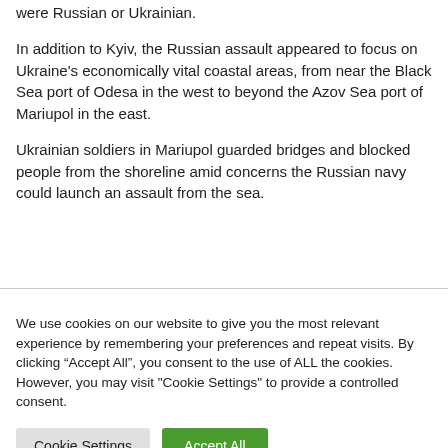were Russian or Ukrainian.
In addition to Kyiv, the Russian assault appeared to focus on Ukraine's economically vital coastal areas, from near the Black Sea port of Odesa in the west to beyond the Azov Sea port of Mariupol in the east.
Ukrainian soldiers in Mariupol guarded bridges and blocked people from the shoreline amid concerns the Russian navy could launch an assault from the sea.
We use cookies on our website to give you the most relevant experience by remembering your preferences and repeat visits. By clicking “Accept All”, you consent to the use of ALL the cookies. However, you may visit "Cookie Settings" to provide a controlled consent.